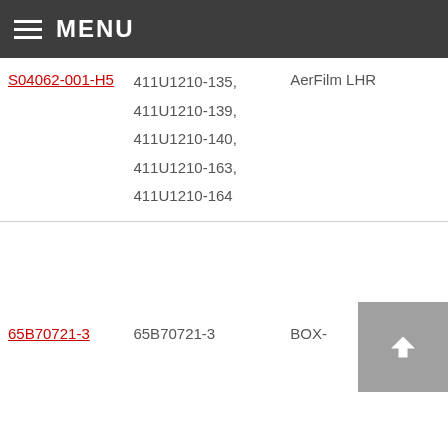MENU
| Part Number | Related Part Numbers | Description |  |
| --- | --- | --- | --- |
| S04062-001-H5 | 411U1210-135, 411U1210-139, 411U1210-140, 411U1210-163, 411U1210-164 | AerFilm LHR |  |
| 65B70721-3 | 65B70721-3 | BOX- |  |